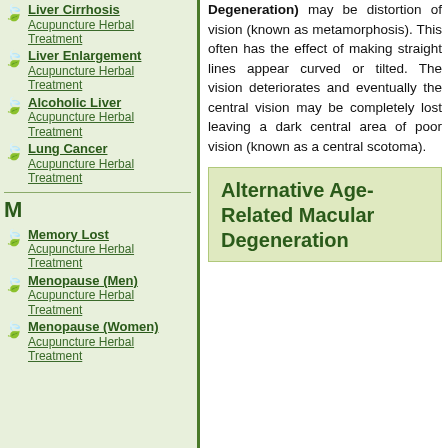Liver Cirrhosis — Acupuncture Herbal Treatment
Liver Enlargement — Acupuncture Herbal Treatment
Alcoholic Liver — Acupuncture Herbal Treatment
Lung Cancer — Acupuncture Herbal Treatment
M
Memory Lost — Acupuncture Herbal Treatment
Menopause (Men) — Acupuncture Herbal Treatment
Menopause (Women) — Acupuncture Herbal Treatment
(Retinal/Macular Degeneration) may be distortion of vision (known as metamorphosis). This often has the effect of making straight lines appear curved or tilted. The vision deteriorates and eventually the central vision may be completely lost leaving a dark central area of poor vision (known as a central scotoma).
Alternative Age-Related Macular Degeneration